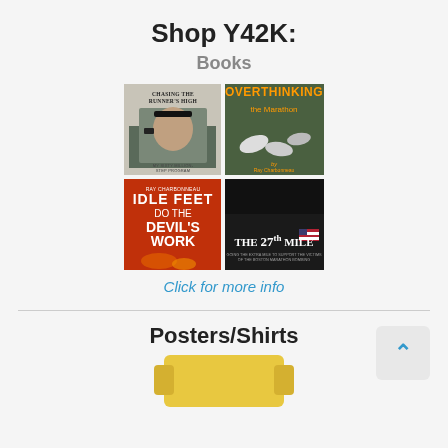Shop Y42K:
Books
[Figure (illustration): A 2x2 grid of four book covers: top-left 'Chasing the Runner's High' by Ray Charbonneau; top-right 'Overthinking the Marathon' by Ray Charbonneau; bottom-left 'Idle Feet Do the Devil's Work' by Ray Charbonneau; bottom-right 'The 27th Mile' by Ray Charbonneau.]
Click for more info
Posters/Shirts
[Figure (photo): Partial view of a yellow shirt at the bottom of the page.]